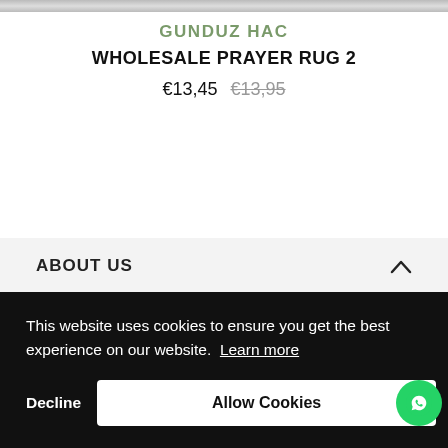[Figure (photo): Product image strip showing prayer rugs]
GUNDUZ HAC
WHOLESALE PRAYER RUG 2
€13,45  €13,95
ABOUT US
This website uses cookies to ensure you get the best experience on our website. Learn more
Decline   Allow Cookies